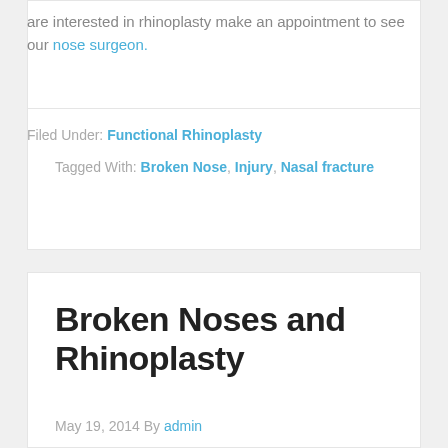are interested in rhinoplasty make an appointment to see our nose surgeon.
Filed Under: Functional Rhinoplasty
Tagged With: Broken Nose, Injury, Nasal fracture
Broken Noses and Rhinoplasty
May 19, 2014 By admin